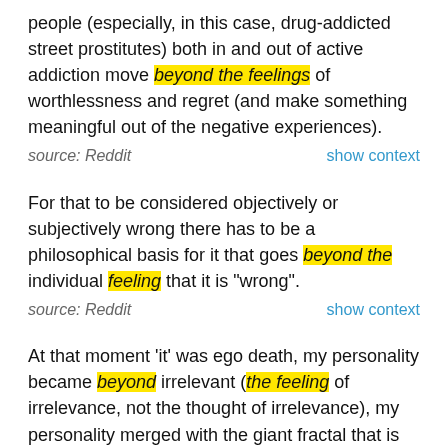people (especially, in this case, drug-addicted street prostitutes) both in and out of active addiction move beyond the feelings of worthlessness and regret (and make something meaningful out of the negative experiences).
source: Reddit   show context
For that to be considered objectively or subjectively wrong there has to be a philosophical basis for it that goes beyond the individual feeling that it is "wrong".
source: Reddit   show context
At that moment 'it' was ego death, my personality became beyond irrelevant (the feeling of irrelevance, not the thought of irrelevance), my personality merged with the giant fractal that is life and the universe, and I was swept out of my head and into supragalactic oneness.. unfortunately i was brought down rather suddenly (entirely self-imposed) and ego-clutching roared back faster than